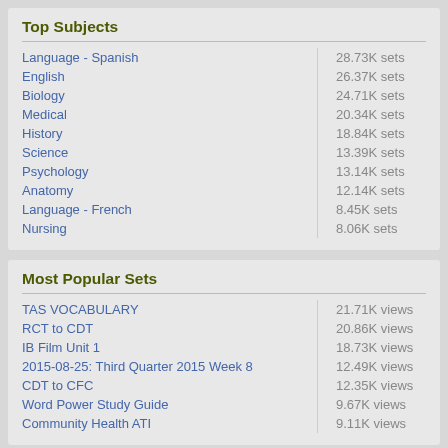Top Subjects
Language - Spanish
English
Biology
Medical
History
Science
Psychology
Anatomy
Language - French
Nursing
Most Popular Sets
TAS VOCABULARY
RCT to CDT
IB Film Unit 1
2015-08-25: Third Quarter 2015 Week 8
CDT to CFC
Word Power Study Guide
Community Health ATI